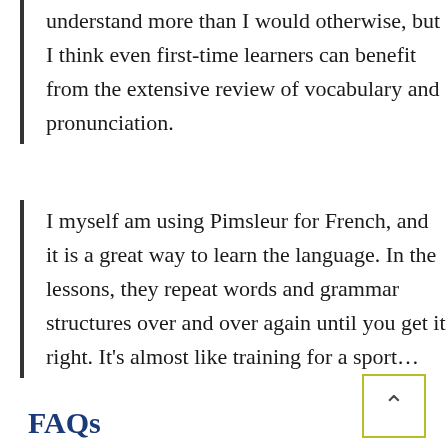understand more than I would otherwise, but I think even first-time learners can benefit from the extensive review of vocabulary and pronunciation.
I myself am using Pimsleur for French, and it is a great way to learn the language. In the lessons, they repeat words and grammar structures over and over again until you get it right. It’s almost like training for a sport…
FAQs